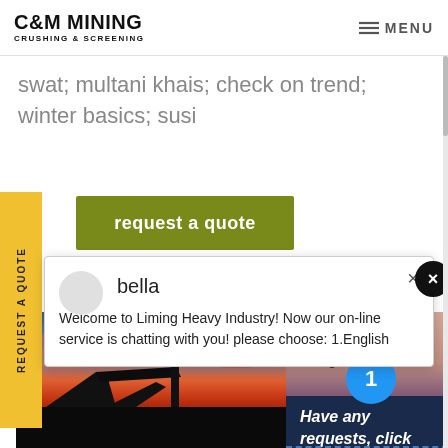C&M MINING CRUSHING & SCREENING | MENU
swat; multani khais; check on trend; winter basics; susi
request a quote
REQUEST A QUOTE
bella
Welcome to Liming Heavy Industry! Now our on-line service is chatting with you! please choose: 1.English
[Figure (photo): Mining equipment silhouette at sunset with colorful sky]
[Figure (photo): Customer service representative with headset smiling]
Have any requests, click here.
Quotation